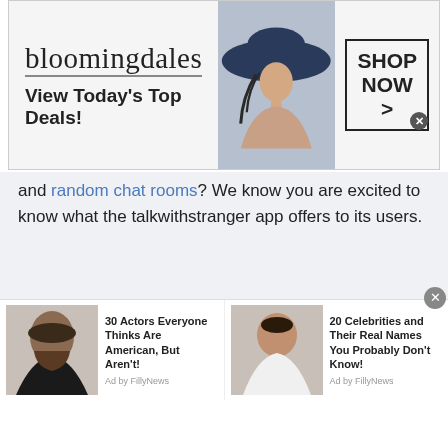[Figure (screenshot): Bloomingdale's advertisement banner showing logo, 'View Today's Top Deals!' tagline, woman with large hat, and 'SHOP NOW >' button]
and random chat rooms? We know you are excited to know what the talkwithstranger app offers to its users.
Let's reveal how talking to strangers in Mozambique is easy, fun and convenient.
Online random chat rooms without any registration
[Figure (screenshot): Bottom advertisement strip showing two sponsored articles: '30 Actors Everyone Thinks Are American, But Aren't! Ad by FillyNews' and '20 Celebrities and Their Real Names You Probably Don't Know! Ad by FillyNews']